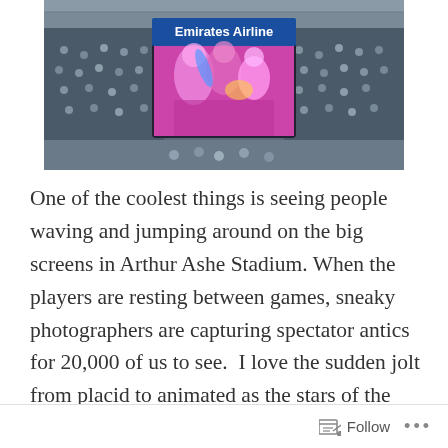[Figure (photo): Indoor sports stadium (Arthur Ashe Stadium) with spectators in the stands and a large LED scoreboard/screen showing Emirates Airline branding at the top, with colorful imagery of people on screen.]
One of the coolest things is seeing people waving and jumping around on the big screens in Arthur Ashe Stadium. When the players are resting between games, sneaky photographers are capturing spectator antics for 20,000 of us to see.  I love the sudden jolt from placid to animated as the stars of the show realise that it's all about them f
Follow ...